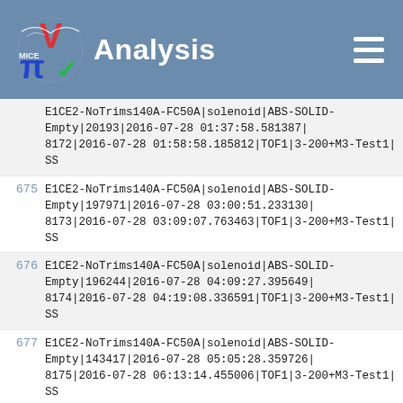Analysis
E1CE2-NoTrims140A-FC50A|solenoid|ABS-SOLID-Empty|20193|2016-07-28 01:37:58.581387|8172|2016-07-28 01:58:58.185812|TOF1|3-200+M3-Test1|SS
675 E1CE2-NoTrims140A-FC50A|solenoid|ABS-SOLID-Empty|197971|2016-07-28 03:00:51.233130|8173|2016-07-28 03:09:07.763463|TOF1|3-200+M3-Test1|SS
676 E1CE2-NoTrims140A-FC50A|solenoid|ABS-SOLID-Empty|196244|2016-07-28 04:09:27.395649|8174|2016-07-28 04:19:08.336591|TOF1|3-200+M3-Test1|SS
677 E1CE2-NoTrims140A-FC50A|solenoid|ABS-SOLID-Empty|143417|2016-07-28 05:05:28.359726|8175|2016-07-28 06:13:14.455006|TOF1|3-200+M3-Test1|SS
678 E1CE2-NoTrims140A-FC50A|solenoid|ABS-SOLID-Empty|185135|2016-07-28 07:13:28.280586|8176|2016-07-28 07:22:14.020867|TOF1|3-200+M3-Test1|SS
679 E1CE2-NoTrims140A-FC50A|solenoid|ABS-SOLID-Empty|196539|2016-07-28 08:30:51.800200|8177|2016-07-28 08:50:42.749064|TOF1|3-200+M3-Test1|SS
680 E1CE2-NoTrims140A-FC50A|solenoid|ABS-SOLID-Empty|37544|2016-07-28 09:04:48.885595|8178|2016-07-28 09:07:57.890143|TOF1|3-200+M3-Test1|SS
681 E1CE2-NoTrims140A-FC50A|solenoid|ABS-SOLID-Empty|43852|2016-07-28 09:24:09.426678|8179|2016-07-28 09:27:21.050079|TOF1|3-200+M3-Test1|SS
682 E1CE2-NoTrims140A-FC50A|solenoid|ABS-SOLID-Empty|369681|2016-07-28 11:37:05.228846|8180|2016-07-28 11:41:02.143796|TOF1|3-240+M3-Test1|SS
683 E1CE2-NoTrims140A-FC50A|solenoid|ABS-SOLID-